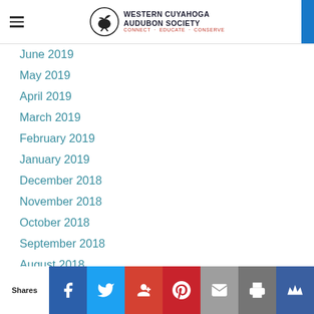Western Cuyahoga Audubon Society — Connect · Educate · Conserve
June 2019
May 2019
April 2019
March 2019
February 2019
January 2019
December 2018
November 2018
October 2018
September 2018
August 2018
July 2018
June 2018
May 2018
April 2018
Shares — Facebook, Twitter, Google+, Pinterest, Email, Print, Crown